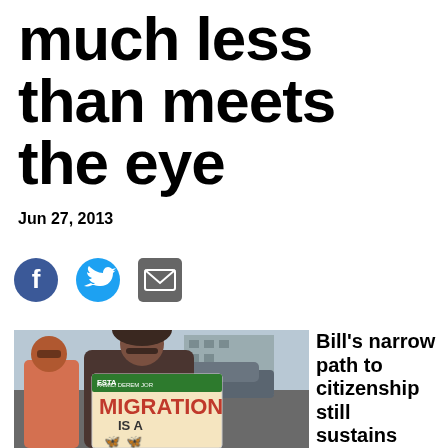much less than meets the eye
Jun 27, 2013
[Figure (illustration): Social media sharing icons: Facebook, Twitter, Email]
[Figure (photo): Woman holding a sign reading 'MIGRATION IS A...' with butterflies, protesting with others holding signs about families and jobs]
Bill's narrow path to citizenship still sustains human rights